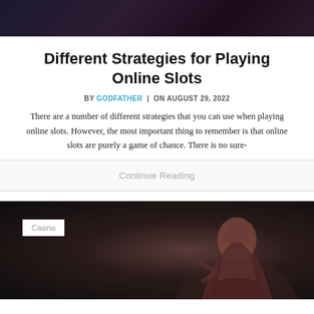[Figure (photo): Dark background image at top, showing a dimly lit scene with purple/dark tones, likely a casino or gaming environment]
Different Strategies for Playing Online Slots
BY GODFATHER | ON AUGUST 29, 2022
There are a number of different strategies that you can use when playing online slots. However, the most important thing to remember is that online slots are purely a game of chance. There is no sure-
Continue Reading
[Figure (photo): Dark photo of a woman with curly hair looking frustrated or angry, with a Casino label badge in the upper left]